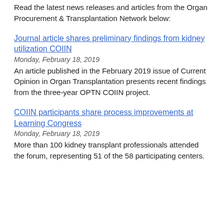Read the latest news releases and articles from the Organ Procurement & Transplantation Network below:
Journal article shares preliminary findings from kidney utilization COIIN
Monday, February 18, 2019
An article published in the February 2019 issue of Current Opinion in Organ Transplantation presents recent findings from the three-year OPTN COIIN project.
COIIN participants share process improvements at Learning Congress
Monday, February 18, 2019
More than 100 kidney transplant professionals attended the forum, representing 51 of the 58 participating centers.